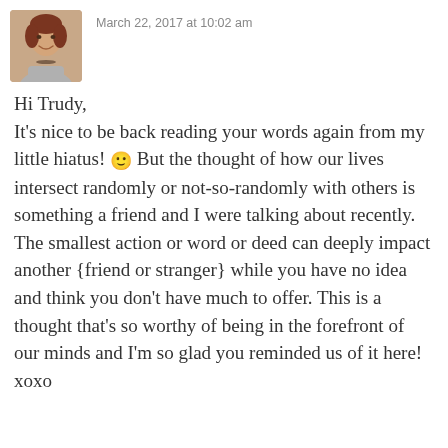[Figure (photo): Small circular/square avatar photo of a woman with dark hair, wearing a necklace, smiling, in warm autumn tones]
March 22, 2017 at 10:02 am
Hi Trudy,
It's nice to be back reading your words again from my little hiatus! 🙂 But the thought of how our lives intersect randomly or not-so-randomly with others is something a friend and I were talking about recently. The smallest action or word or deed can deeply impact another {friend or stranger} while you have no idea and think you don't have much to offer. This is a thought that's so worthy of being in the forefront of our minds and I'm so glad you reminded us of it here!
xoxo